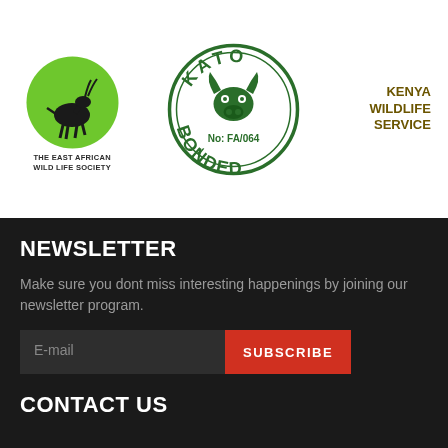[Figure (logo): The East African Wild Life Society logo — green circle with antelope silhouette, text below]
[Figure (logo): KATO Bonded circular stamp logo, green, No: FA/064, bull head in center]
[Figure (logo): Kenya Wildlife Service text logo in olive/dark gold bold text]
NEWSLETTER
Make sure you dont miss interesting happenings by joining our newsletter program.
CONTACT US